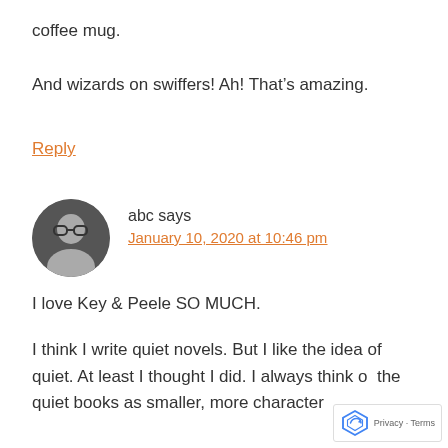coffee mug.
And wizards on swiffers! Ah! That’s amazing.
Reply
abc says
January 10, 2020 at 10:46 pm
I love Key & Peele SO MUCH.
I think I write quiet novels. But I like the idea of quiet. At least I thought I did. I always think of the quiet books as smaller, more character